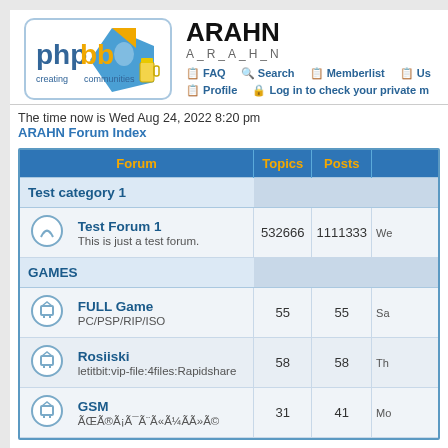[Figure (logo): phpBB logo - creating communities]
ARAHN
A_R_A_H_N
FAQ  Search  Memberlist  Us...  Profile  Log in to check your private m...
The time now is Wed Aug 24, 2022 8:20 pm
ARAHN Forum Index
| Forum | Topics | Posts |  |
| --- | --- | --- | --- |
| Test category 1 |  |  |  |
| Test Forum 1 / This is just a test forum. | 532666 | 1111333 | We... |
| GAMES |  |  |  |
| FULL Game / PC/PSP/RIP/ISO | 55 | 55 | Sa... |
| Rosiiski / letitbit:vip-file:4files:Rapidshare | 58 | 58 | Th... |
| GSM / ÃŒÃ®Ã¡Ã¯Ã¨Ã«Ã¼ÃÃ»Ã© | 31 | 41 | Mo... |